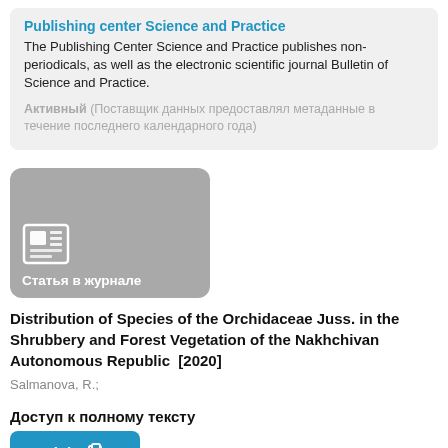Publishing center Science and Practice
The Publishing Center Science and Practice publishes non-periodicals, as well as the electronic scientific journal Bulletin of Science and Practice.
Активный (Поставщик данных предоставлял метаданные в течение последнего календарного года)
[Figure (illustration): Gray rounded thumbnail with newspaper icon and label 'Статья в журнале']
Distribution of Species of the Orchidaceae Juss. in the Shrubbery and Forest Vegetation of the Nakhchivan Autonomous Republic  [2020]
Salmanova, R.;
Доступ к полному тексту
Link